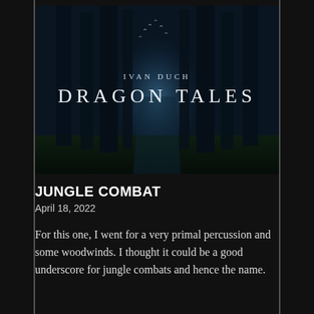[Figure (illustration): Album cover for 'Dragon Tales' by Ivan Duch. Dark atmospheric forest scene with tall shadowy trees and light filtering through the center, birds visible. Text reads 'IVAN DUCH' and 'DRAGON TALES' in white letters.]
JUNGLE COMBAT
April 18, 2022
For this one, I went for a very primal percussion and some woodwinds. I thought it could be a good underscore for jungle combats and hence the name.